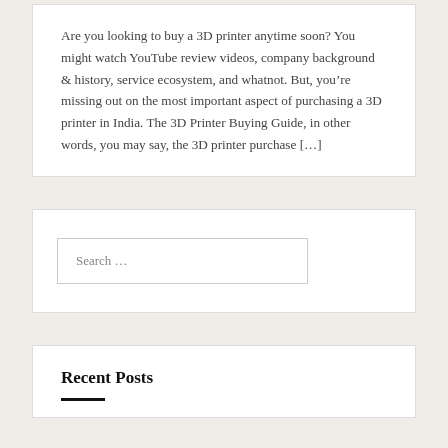Are you looking to buy a 3D printer anytime soon? You might watch YouTube review videos, company background & history, service ecosystem, and whatnot. But, you're missing out on the most important aspect of purchasing a 3D printer in India. The 3D Printer Buying Guide, in other words, you may say, the 3D printer purchase […]
Search …
Recent Posts